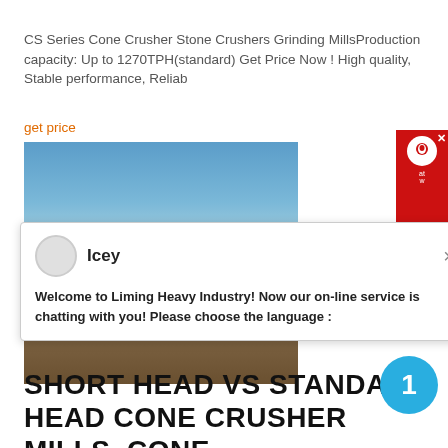CS Series Cone Crusher Stone Crushers Grinding MillsProduction capacity: Up to 1270TPH(standard) Get Price Now ! High quality, Stable performance, Reliab
get price
[Figure (photo): Photo of a quarry or mining site, with blue sky in upper portion and rocky/sandy ground in lower portion]
[Figure (screenshot): Live chat popup widget from Liming Heavy Industry website, showing avatar named 'Icey' and welcome message]
SHORT HEAD VS STANDARD HEAD CONE CRUSHER MILLS, CONE
CS series cone crushers (2ft, 3ft, 4 1/4ft, 5 1/2 feet standard and short head cone crusher) with capacity 50-400, 500-1300tph are used for quarry, mining, Used Cone crushers The average